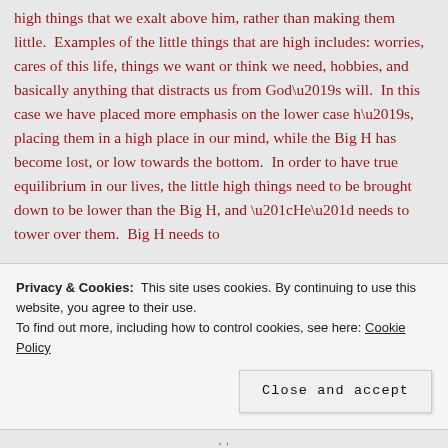high things that we exalt above him, rather than making them little.  Examples of the little things that are high includes: worries, cares of this life, things we want or think we need, hobbies, and basically anything that distracts us from God’s will.  In this case we have placed more emphasis on the lower case h’s, placing them in a high place in our mind, while the Big H has become lost, or low towards the bottom.  In order to have true equilibrium in our lives, the little high things need to be brought down to be lower than the Big H, and “He” needs to tower over them.  Big H needs to
Privacy & Cookies:  This site uses cookies. By continuing to use this website, you agree to their use.
To find out more, including how to control cookies, see here: Cookie Policy
Close and accept